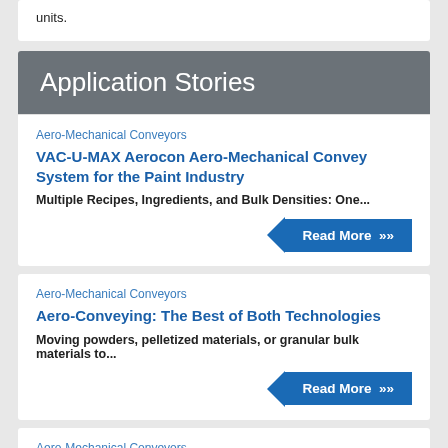units.
Application Stories
Aero-Mechanical Conveyors
VAC-U-MAX Aerocon Aero-Mechanical Convey System for the Paint Industry
Multiple Recipes, Ingredients, and Bulk Densities: One...
Read More »
Aero-Mechanical Conveyors
Aero-Conveying: The Best of Both Technologies
Moving powders, pelletized materials, or granular bulk materials to...
Read More »
Aero-Mechanical Conveyors
When to Convey Pneumatically & When to Convey Mechanically